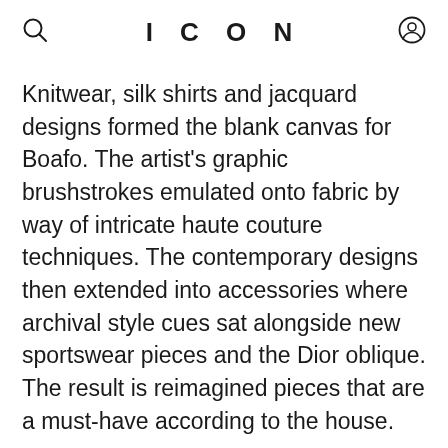ICON
Knitwear, silk shirts and jacquard designs formed the blank canvas for Boafo. The artist's graphic brushstrokes emulated onto fabric by way of intricate haute couture techniques. The contemporary designs then extended into accessories where archival style cues sat alongside new sportswear pieces and the Dior oblique. The result is reimagined pieces that are a must-have according to the house.
Most notably, footwear took centre stage for Spring/Summer 2021 where sneakers and open-toed sandals permeated into the collection, lending a casual approach to